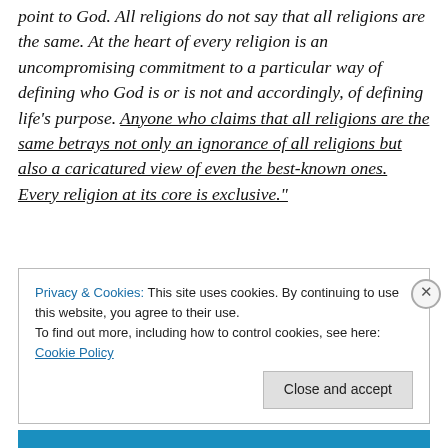point to God. All religions do not say that all religions are the same. At the heart of every religion is an uncompromising commitment to a particular way of defining who God is or is not and accordingly, of defining life's purpose. Anyone who claims that all religions are the same betrays not only an ignorance of all religions but also a caricatured view of even the best-known ones. Every religion at its core is exclusive."
Privacy & Cookies: This site uses cookies. By continuing to use this website, you agree to their use. To find out more, including how to control cookies, see here: Cookie Policy